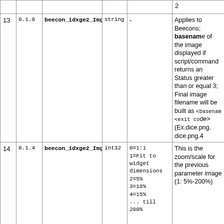| # | Ver | Name | Type | Values | Description |
| --- | --- | --- | --- | --- | --- |
| 13 | 0.1.0 | beecon_idxge2_ImgFilename | string | - | Applies to Beecons; basename of the image displayed if script/command returns an Status greater than or equal 3; Final image filename will be built as <basename><exit code> (Ex.dice.png.4 dice.png.4... |
| 14 | 0.1.4 | beecon_idxge2_ImgZoom | int32 | 0=1:1
1=Fit to widget dimensions
2=5%
3=10%
4=15%
... till
200% | This is the zoom/scale for the previous parameter image (1:5%-200%) |
| 15 | 0.1.9.1 | beecon_idxge2_ExtBgRGB | string | #<rrrr>
<gggg> | Applies to Beecons; |